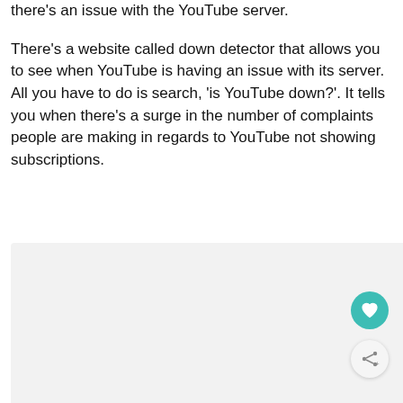there's an issue with the YouTube server.
There's a website called down detector that allows you to see when YouTube is having an issue with its server. All you have to do is search, 'is YouTube down?'. It tells you when there's a surge in the number of complaints people are making in regards to YouTube not showing subscriptions.
[Figure (other): Light gray rectangular image area placeholder with a teal heart/favorite button and a light share button in the bottom-right corner.]